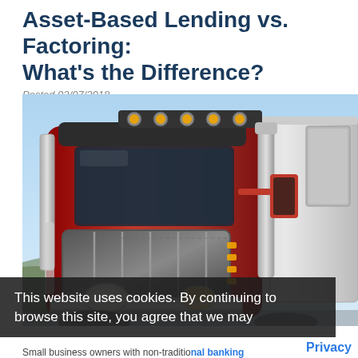Asset-Based Lending vs. Factoring: What's the Difference?
Posted 02/07/2018
[Figure (photo): Close-up front view of a large red semi-truck (18-wheeler) with chrome grille and orange marker lights on the cab roof, against a blue sky background.]
This website uses cookies. By continuing to browse this site, you agree that we may
Privacy
Small business owners with non-traditional banking